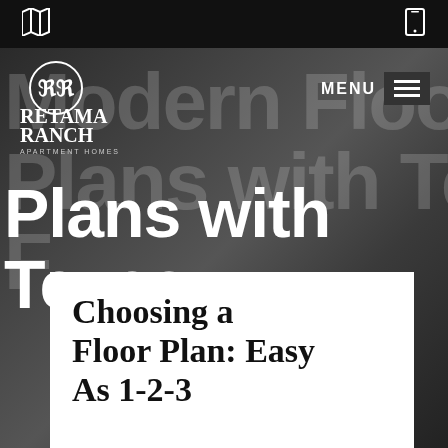[map icon] [phone icon]
[Figure (logo): Retama Ranch Apartment Homes circular logo with RR monogram]
Modern Floor Plans with Texas F[lair]
Choosing a Floor Plan: Easy As 1-2-3